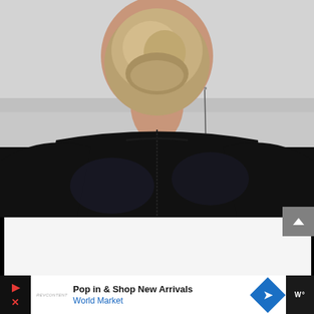[Figure (photo): Back view of a woman with blonde hair in an updo, wearing a black leather jacket. The photo shows the back of her head, neck, and upper body from behind against a light gray background. A long dangly earring is visible on her right side.]
[Figure (screenshot): A scroll-to-top button (upward chevron arrow) on a gray square background, positioned at the right side below the main photo.]
[Figure (screenshot): Advertisement banner: 'Pop in & Shop New Arrivals' for World Market, with a blue navigation/directions diamond icon on the right. Left side has play and close (X) icons and a small Revcontent advertiser logo.]